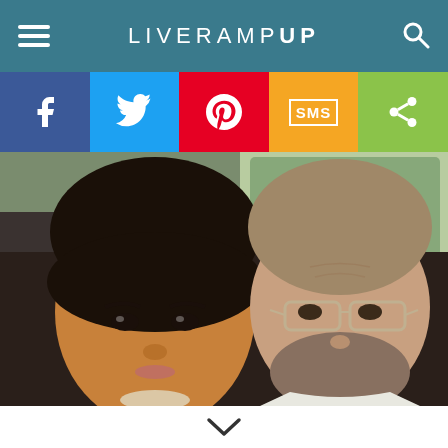LIVE RAMPUP
[Figure (infographic): Social media sharing bar with Facebook, Twitter, Pinterest, SMS, and Share buttons]
[Figure (photo): Two people taking a selfie in a car — a woman with short dark hair and glamorous makeup wearing a statement necklace, and a man with a shaved head wearing glasses and a white shirt]
[Figure (infographic): Downward chevron navigation indicator]